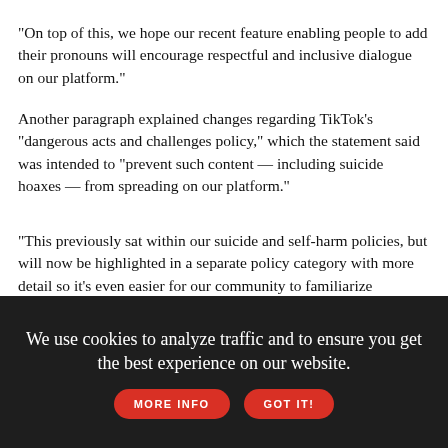"On top of this, we hope our recent feature enabling people to add their pronouns will encourage respectful and inclusive dialogue on our platform."
Another paragraph explained changes regarding TikTok's "dangerous acts and challenges policy," which the statement said was intended to "prevent such content — including suicide hoaxes — from spreading on our platform."
"This previously sat within our suicide and self-harm policies, but will now be highlighted in a separate policy category with more detail so it's even easier for our community to familiarize themselves with these guidelines," the statement added.
[Figure (photo): Advertisement banner for 2022 Chevrolet Equinox with text 'PROUD TO FIND NEW ROADS' on a forest background]
We use cookies to analyze traffic and to ensure you get the best experience on our website. MORE INFO GOT IT!